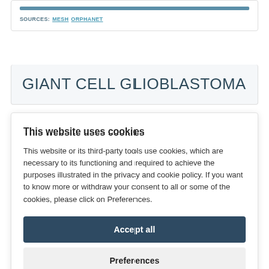SOURCES: MESH ORPHANET
GIANT CELL GLIOBLASTOMA
This website uses cookies
This website or its third-party tools use cookies, which are necessary to its functioning and required to achieve the purposes illustrated in the privacy and cookie policy. If you want to know more or withdraw your consent to all or some of the cookies, please click on Preferences.
Accept all
Preferences